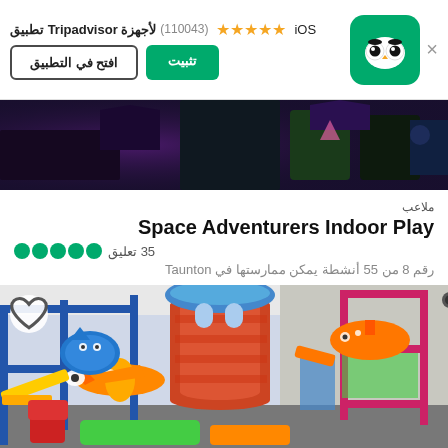[Figure (screenshot): Tripadvisor app banner with logo, stars rating (110043 reviews), install and open buttons, iOS label]
[Figure (photo): Dark indoor photo of what appears to be a children's play area with colorful elements]
ملاعب
Space Adventurers Indoor Play
35 تعليق (5 green dots rating)
رقم 8 من 55 أنشطة يمكن ممارستها في Taunton
[Figure (photo): Colorful indoor children's play center with slides, climbing structures, airplane and shark decorations, submarine ride, bright blue and orange colors]